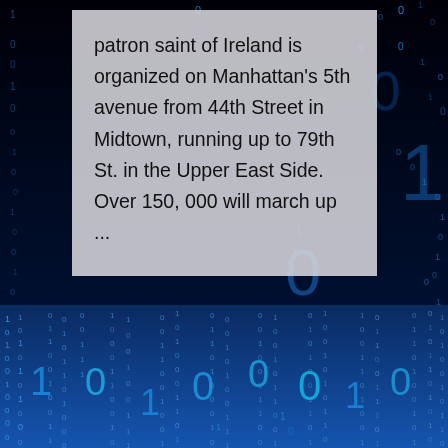[Figure (illustration): Digital binary code rain background — blue glowing 0s and 1s falling on dark background, split into upper dark section and lower bright blue section]
patron saint of Ireland is organized on Manhattan's 5th avenue from 44th Street in Midtown, running up to 79th St. in the Upper East Side. Over 150, 000 will march up ...